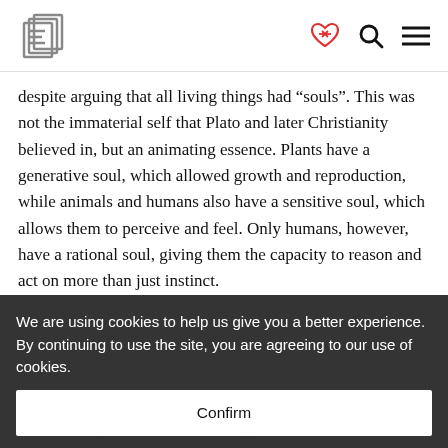[Logo: E icon] [heart/handshake icon] [search icon] [menu icon]
despite arguing that all living things had “souls”. This was not the immaterial self that Plato and later Christianity believed in, but an animating essence. Plants have a generative soul, which allowed growth and reproduction, while animals and humans also have a sensitive soul, which allows them to perceive and feel. Only humans, however, have a rational soul, giving them the capacity to reason and act on more than just instinct.
We are using cookies to help us give you a better experience. By continuing to use the site, you are agreeing to our use of cookies.
Confirm
sentient life, but between humans, who have